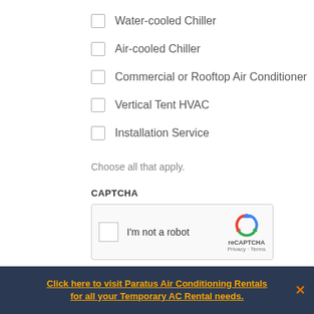Water-cooled Chiller
Air-cooled Chiller
Commercial or Rooftop Air Conditioner
Vertical Tent HVAC
Installation Service
Choose all that apply.
CAPTCHA
[Figure (other): reCAPTCHA widget with checkbox labeled 'I'm not a robot' and reCAPTCHA logo with Privacy and Terms links]
Click here to visit Paratus Air Conditioning Rentals for all your Temporary AC Rental needs.